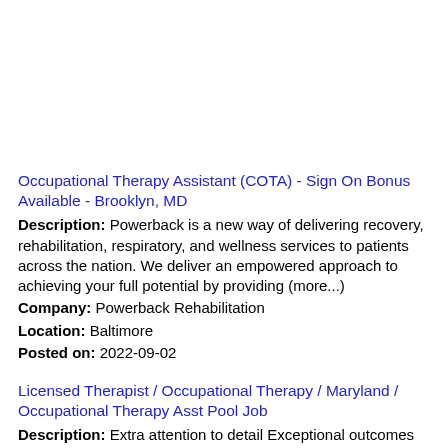Occupational Therapy Assistant (COTA) - Sign On Bonus Available - Brooklyn, MD
Description: Powerback is a new way of delivering recovery, rehabilitation, respiratory, and wellness services to patients across the nation. We deliver an empowered approach to achieving your full potential by providing (more...) Company: Powerback Rehabilitation Location: Baltimore Posted on: 2022-09-02
Licensed Therapist / Occupational Therapy / Maryland / Occupational Therapy Asst Pool Job
Description: Extra attention to detail Exceptional outcomes BE THE CONNECTION. Your role as a certified occupational therapy assistant COTA lets you be the connection between dedication to detail and patient outcomes (more...) Company: Therapist Jobs Location: Salisbury